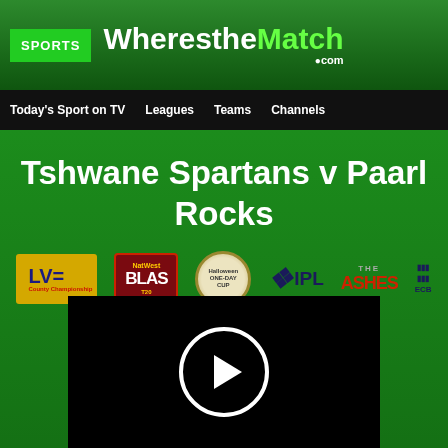SPORTS | WherestheMatch.com
Tshwane Spartans v Paarl Rocks
[Figure (logo): Row of cricket league logos: LVE County Championship, NatWest T20 Blast, Halloween One-Day Cup, IPL, The Ashes, ECB]
[Figure (screenshot): Black video player area with white circular play button in the center]